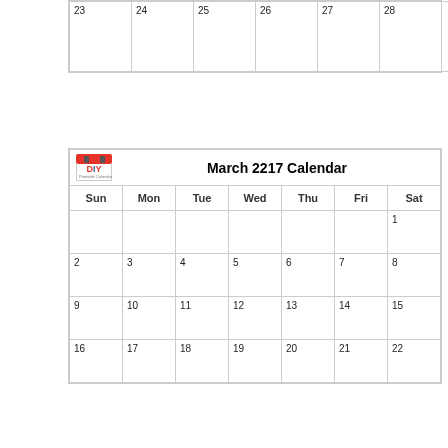| 23 | 24 | 25 | 26 | 27 | 28 |  |
| Sun | Mon | Tue | Wed | Thu | Fri | Sat |
| --- | --- | --- | --- | --- | --- | --- |
|  |  |  |  |  |  | 1 |
| 2 | 3 | 4 | 5 | 6 | 7 | 8 |
| 9 | 10 | 11 | 12 | 13 | 14 | 15 |
| 16 | 17 | 18 | 19 | 20 | 21 | 22 |